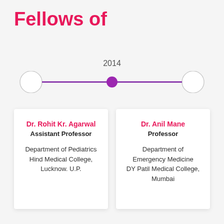Fellows of
[Figure (infographic): A horizontal timeline with two circle endpoints on the left and right, a filled purple circle in the center marked with year 2014, and a purple line connecting them.]
Dr. Rohit Kr. Agarwal
Assistant Professor
Department of Pediatrics
Hind Medical College,
Lucknow. U.P.
Dr. Anil Mane
Professor
Department of Emergency Medicine
DY Patil Medical College,
Mumbai